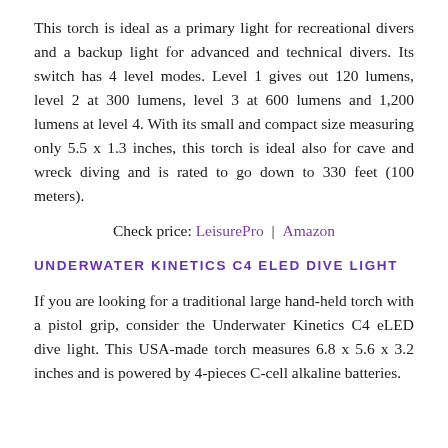This torch is ideal as a primary light for recreational divers and a backup light for advanced and technical divers. Its switch has 4 level modes. Level 1 gives out 120 lumens, level 2 at 300 lumens, level 3 at 600 lumens and 1,200 lumens at level 4. With its small and compact size measuring only 5.5 x 1.3 inches, this torch is ideal also for cave and wreck diving and is rated to go down to 330 feet (100 meters).
Check price: LeisurePro | Amazon
UNDERWATER KINETICS C4 ELED DIVE LIGHT
If you are looking for a traditional large hand-held torch with a pistol grip, consider the Underwater Kinetics C4 eLED dive light. This USA-made torch measures 6.8 x 5.6 x 3.2 inches and is powered by 4-pieces C-cell alkaline batteries.